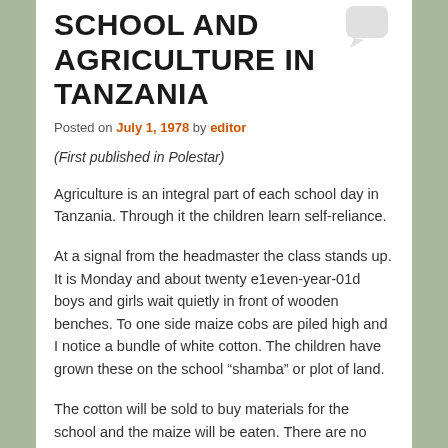SCHOOL AND AGRICULTURE IN TANZANIA
Posted on July 1, 1978 by editor
(First published in Polestar)
Agriculture is an integral part of each school day in Tanzania. Through it the children learn self-reliance.
At a signal from the headmaster the class stands up. It is Monday and about twenty e1even-year-01d boys and girls wait quietly in front of wooden benches. To one side maize cobs are piled high and I notice a bundle of white cotton. The children have grown these on the school “shamba” or plot of land.
The cotton will be sold to buy materials for the school and the maize will be eaten. There are no school meals provided by someone else. If the school. or village do not produce food, there is no one.